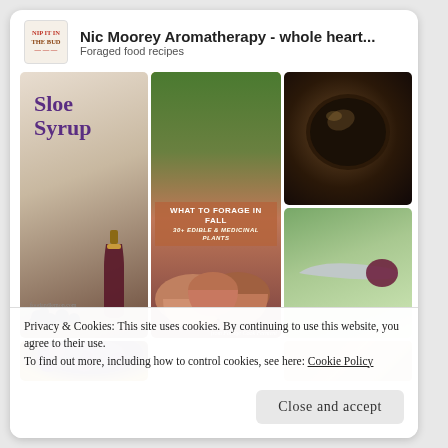[Figure (screenshot): Website card for Nic Moorey Aromatherapy showing a Pinterest-style board with foraged food recipe images including Sloe Syrup, chestnuts, What to Forage in Fall book cover, dark jam jar, spoon with jam, grapes, and mushrooms]
Privacy & Cookies: This site uses cookies. By continuing to use this website, you agree to their use.
To find out more, including how to control cookies, see here: Cookie Policy
Close and accept